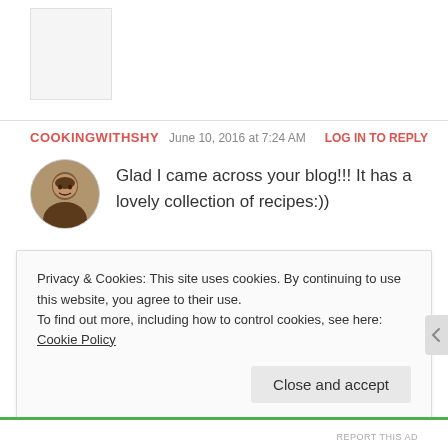[Figure (screenshot): Partial top section of a blog page with a white box/image placeholder and a horizontal divider line]
COOKINGWITHSHY   June 10, 2016 at 7:24 AM   LOG IN TO REPLY
Glad I came across your blog!!! It has a lovely collection of recipes:))
★ Liked by 5 people
Privacy & Cookies: This site uses cookies. By continuing to use this website, you agree to their use.
To find out more, including how to control cookies, see here: Cookie Policy
Close and accept